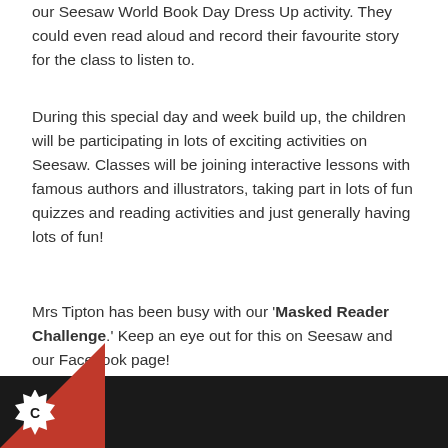our Seesaw World Book Day Dress Up activity. They could even read aloud and record their favourite story for the class to listen to.
During this special day and week build up, the children will be participating in lots of exciting activities on Seesaw. Classes will be joining interactive lessons with famous authors and illustrators, taking part in lots of fun quizzes and reading activities and just generally having lots of fun!
Mrs Tipton has been busy with our 'Masked Reader Challenge.' Keep an eye out for this on Seesaw and our Facebook page!
[Figure (other): Dark footer bar with red triangle in bottom-left corner and a white cogwheel/star badge icon with letter C]